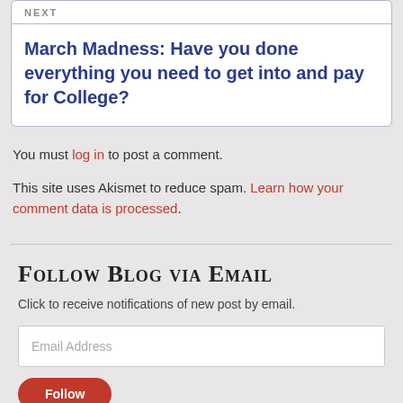NEXT
March Madness: Have you done everything you need to get into and pay for College?
You must log in to post a comment.
This site uses Akismet to reduce spam. Learn how your comment data is processed.
Follow Blog via Email
Click to receive notifications of new post by email.